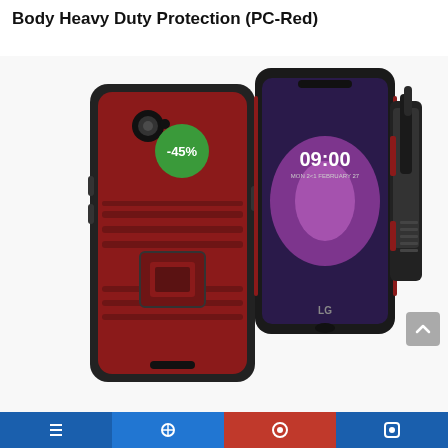Body Heavy Duty Protection (PC-Red)
[Figure (photo): Product photo of a red and black LG smartphone heavy duty protective case with kickstand and belt clip holster. A green circular badge showing -45% discount is overlaid on the top-left of the case. Three views shown: back of case with kickstand, front showing phone screen at 09:00 Monday February 27, and the belt clip holster attachment.]
Social media / navigation bar icons at bottom